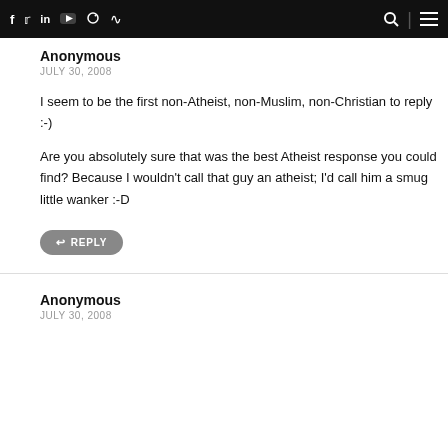Navigation bar with social icons (f, twitter, in, youtube, instagram, rss) and search/menu icons
Anonymous
JULY 30, 2008
I seem to be the first non-Atheist, non-Muslim, non-Christian to reply :-)
Are you absolutely sure that was the best Atheist response you could find? Because I wouldn't call that guy an atheist; I'd call him a smug little wanker :-D
REPLY
Anonymous
JULY 30, 2008